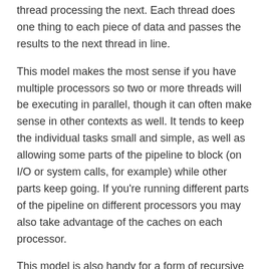thread processing the next. Each thread does one thing to each piece of data and passes the results to the next thread in line.
This model makes the most sense if you have multiple processors so two or more threads will be executing in parallel, though it can often make sense in other contexts as well. It tends to keep the individual tasks small and simple, as well as allowing some parts of the pipeline to block (on I/O or system calls, for example) while other parts keep going. If you're running different parts of the pipeline on different processors you may also take advantage of the caches on each processor.
This model is also handy for a form of recursive programming where, rather than having a subroutine call itself, it instead creates another thread. Prime and Fibonacci generators both map well to this form of the pipeline model. (A version of a prime number generator is presented later on.)
What kind of threads are Perl